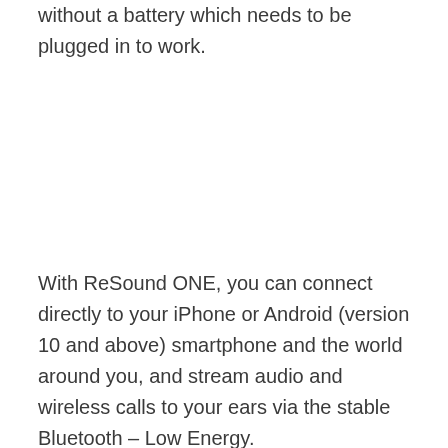without a battery which needs to be plugged in to work.
With ReSound ONE, you can connect directly to your iPhone or Android (version 10 and above) smartphone and the world around you, and stream audio and wireless calls to your ears via the stable Bluetooth – Low Energy.